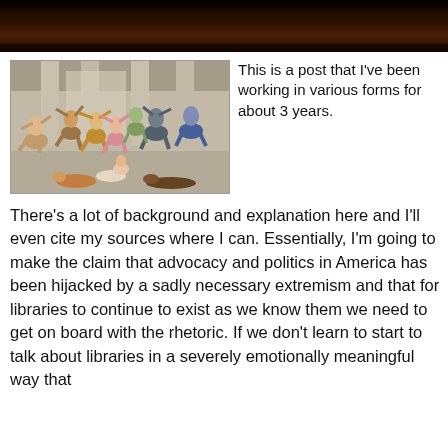[Figure (photo): Dark reddish-brown banner image at top, appears to be a cropped photo of fire or dark scene]
[Figure (illustration): Painting depicting a chaotic crowd scene with people running, falling, fighting in what appears to be a large hall with columns]
This is a post that I've been working in various forms for about 3 years.
There's a lot of background and explanation here and I'll even cite my sources where I can. Essentially, I'm going to make the claim that advocacy and politics in America has been hijacked by a sadly necessary extremism and that for libraries to continue to exist as we know them we need to get on board with the rhetoric. If we don't learn to start to talk about libraries in a severely emotionally meaningful way that...